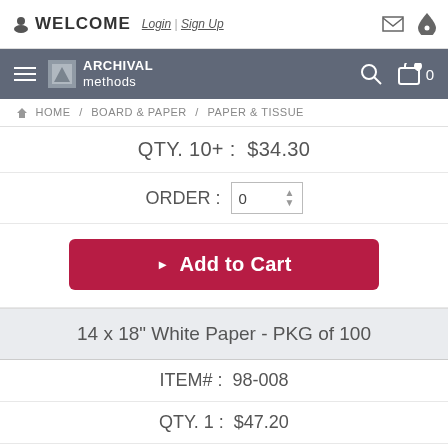WELCOME Login | Sign Up
[Figure (screenshot): Navigation bar with Archival Methods logo, hamburger menu, search icon, and cart icon]
HOME / BOARD & PAPER / PAPER & TISSUE
QTY. 10+ : $34.30
ORDER : 0
Add to Cart
14 x 18" White Paper - PKG of 100
ITEM# : 98-008
QTY. 1 : $47.20
QTY. 2-9 : $42.45
QTY. 10+ : $40.10